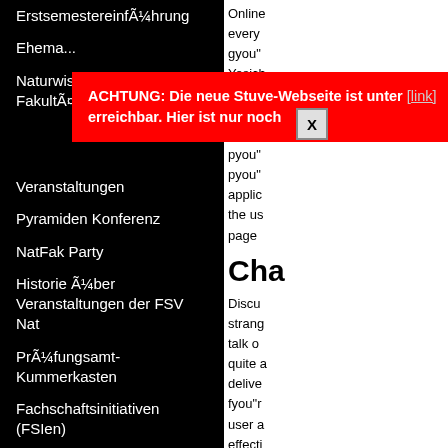ErstsemestereinführungErstsemestereinfÃ¼hrung
Ehema...
NaturwisseschaftlicheNaturwisse... FakultätFakultÃ¤t
[Figure (screenshot): Red alert overlay with text: ACHTUNG: Die neue Stuve-Webseite ist unter [link] erreichbar. Hier ist nur noch [Archiv.] with a close X button]
Veranstaltungen
Pyramiden Konferenz
NatFak Party
Historie Über Veranstaltungen der FSV Nat
PrüfungsamtPrÃ¼fungsamt-Kummerkasten
Fachschaftsinitiativen (FSIen)
Infos für FSIenInfos fÃ¼r FSIen
Vernetzungstreffen
Haushaltsmittel
Sitzungen und Protokalle
Online every gyou" Yesich softwa others attem pyou" pyou" applic the us page
Cha
Discu strang talk o quite a delive fyou"r user a effect consu